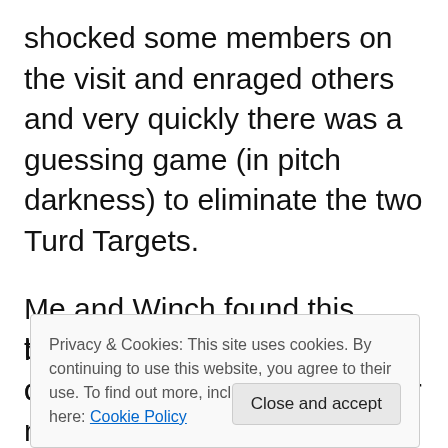shocked some members on the visit and enraged others and very quickly there was a guessing game (in pitch darkness) to eliminate the two Turd Targets.
Me and Winch found this hilarious but the organisers didn't (understandably) but for me it goes to show the duplicity of this
Privacy & Cookies: This site uses cookies. By continuing to use this website, you agree to their use. To find out more, including how to c see here: Cookie Policy
that feeds them when in the company of